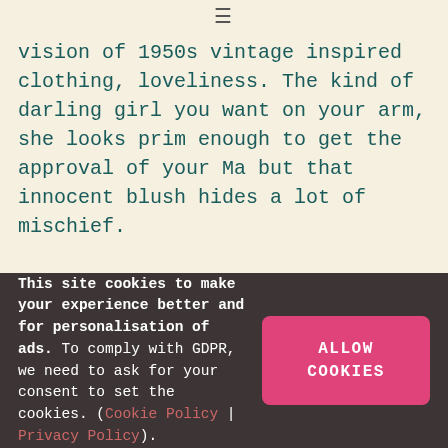vision of 1950s vintage inspired clothing, loveliness. The kind of darling girl you want on your arm, she looks prim enough to get the approval of your Ma but that innocent blush hides a lot of mischief.
Way Out West garden floral 50s swing dress not only boasts that flattering iconic, vintage style dress shape, it also references the quintessentially English taste for floral prints. Classic and refined,
This site cookies to make your experience better and for personalisation of ads. To comply with GDPR, we need to ask for your consent to set the cookies. (Cookie Policy | Privacy Policy).